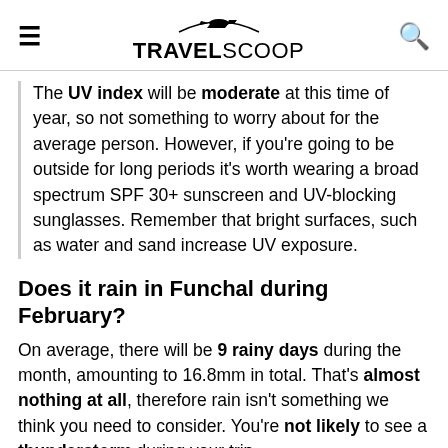TRAVELSCOOP
The UV index will be moderate at this time of year, so not something to worry about for the average person. However, if you're going to be outside for long periods it's worth wearing a broad spectrum SPF 30+ sunscreen and UV-blocking sunglasses. Remember that bright surfaces, such as water and sand increase UV exposure.
Does it rain in Funchal during February?
On average, there will be 9 rainy days during the month, amounting to 16.8mm in total. That's almost nothing at all, therefore rain isn't something we think you need to consider. You're not likely to see a thunderstorm during your trip.